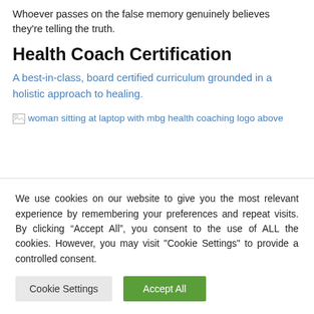Whoever passes on the false memory genuinely believes they're telling the truth.
Health Coach Certification
A best-in-class, board certified curriculum grounded in a holistic approach to healing.
[Figure (photo): Broken image placeholder with alt text: woman sitting at laptop with mbg health coaching logo above]
We use cookies on our website to give you the most relevant experience by remembering your preferences and repeat visits. By clicking “Accept All”, you consent to the use of ALL the cookies. However, you may visit "Cookie Settings" to provide a controlled consent.